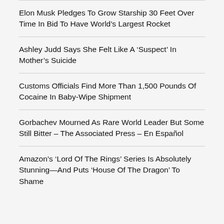Elon Musk Pledges To Grow Starship 30 Feet Over Time In Bid To Have World’s Largest Rocket
Ashley Judd Says She Felt Like A ‘Suspect’ In Mother’s Suicide
Customs Officials Find More Than 1,500 Pounds Of Cocaine In Baby-Wipe Shipment
Gorbachev Mourned As Rare World Leader But Some Still Bitter – The Associated Press – En Español
Amazon’s ‘Lord Of The Rings’ Series Is Absolutely Stunning—And Puts ‘House Of The Dragon’ To Shame